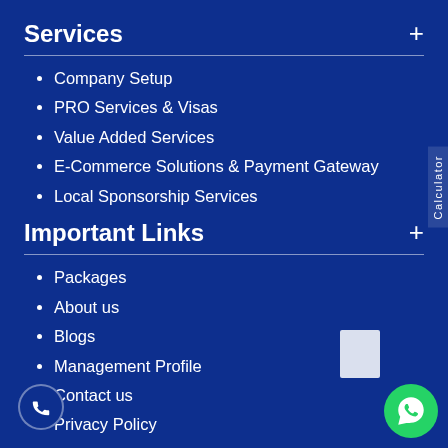Services
Company Setup
PRO Services & Visas
Value Added Services
E-Commerce Solutions & Payment Gateway
Local Sponsorship Services
Important Links
Packages
About us
Blogs
Management Profile
Contact us
Privacy Policy